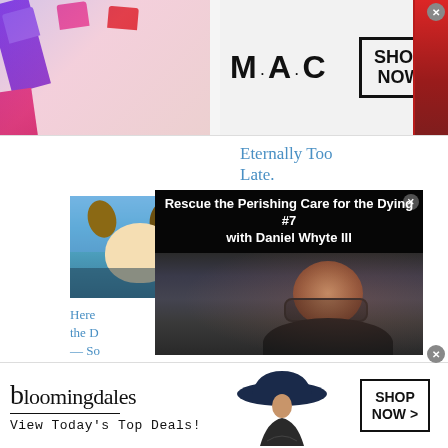[Figure (photo): MAC cosmetics advertisement banner with lipsticks on left and SHOP NOW button on right]
Eternally Too Late.
August 12, 2022
Similar post
[Figure (photo): Photo of a dog with blue-tinted fur in a store setting]
Here
the D
— So
Hom
"Fu
[Figure (screenshot): Video overlay: Rescue the Perishing Care for the Dying #7 with Daniel Whyte III — showing a man with glasses]
[Figure (photo): Bloomingdale's advertisement banner: View Today's Top Deals! with woman in hat and SHOP NOW > button]